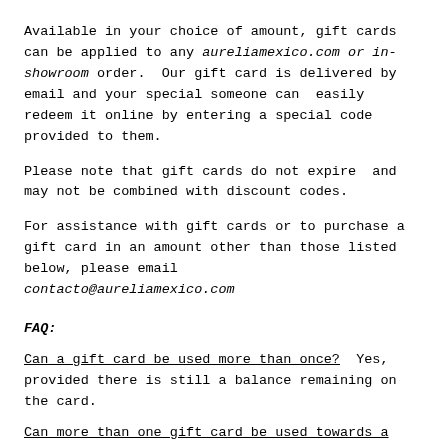Available in your choice of amount, gift cards can be applied to any aureliamexico.com or in-showroom order. Our gift card is delivered by email and your special someone can easily redeem it online by entering a special code provided to them.
Please note that gift cards do not expire and may not be combined with discount codes.
For assistance with gift cards or to purchase a gift card in an amount other than those listed below, please email contacto@aureliamexico.com
FAQ:
Can a gift card be used more than once? Yes, provided there is still a balance remaining on the card.
Can more than one gift card be used towards a purchase? Yes. A customer can redeem another gift card during